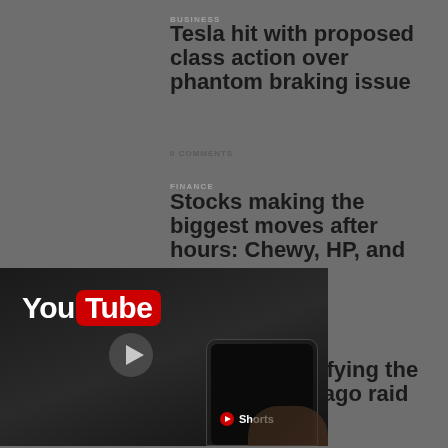BUSINESS
Tesla hit with proposed class action over phantom braking issue
0 COMMENTS
FINANCE
Stocks making the biggest moves after hours: Chewy, HP, and more
[Figure (screenshot): YouTube app screenshot showing YouTube logo with Shorts interface on a smartphone screen, dark background]
...ed document justifying the Trump Mar-a-Lago raid
0 COMMENTS